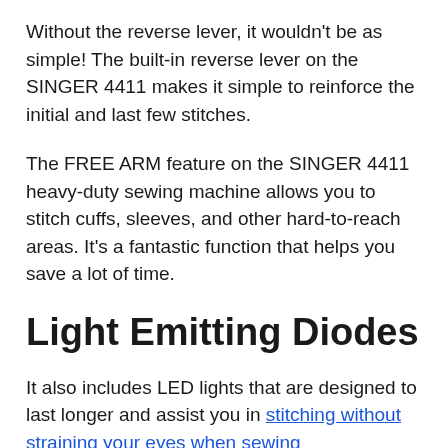Without the reverse lever, it wouldn't be as simple! The built-in reverse lever on the SINGER 4411 makes it simple to reinforce the initial and last few stitches.
The FREE ARM feature on the SINGER 4411 heavy-duty sewing machine allows you to stitch cuffs, sleeves, and other hard-to-reach areas. It's a fantastic function that helps you save a lot of time.
Light Emitting Diodes
It also includes LED lights that are designed to last longer and assist you in stitching without straining your eyes when sewing